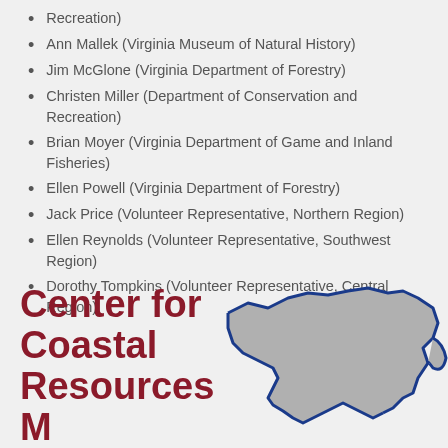Recreation)
Ann Mallek (Virginia Museum of Natural History)
Jim McGlone (Virginia Department of Forestry)
Christen Miller (Department of Conservation and Recreation)
Brian Moyer (Virginia Department of Game and Inland Fisheries)
Ellen Powell (Virginia Department of Forestry)
Jack Price (Volunteer Representative, Northern Region)
Ellen Reynolds (Volunteer Representative, Southwest Region)
Dorothy Tompkins (Volunteer Representative, Central Region)
[Figure (logo): Center for Coastal Resources Management logo with Virginia state map outline in gray with blue border]